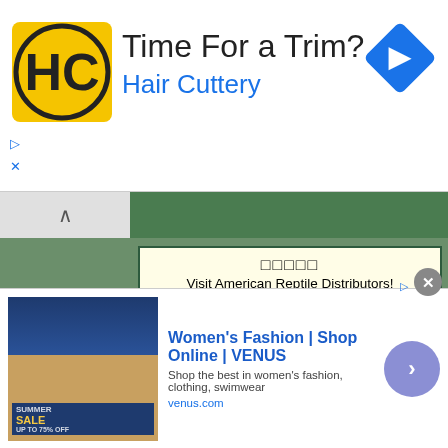[Figure (screenshot): Hair Cuttery advertisement banner with HC logo, 'Time For a Trim?' heading, 'Hair Cuttery' brand name in blue, and a blue diamond arrow icon on the right]
[Figure (screenshot): American Reptile Distributors advertisement card with emoji and link https://americanreptiles.]
[Figure (screenshot): Reptile Super Show advertisement card with bold title, event details July 9-10 Anaheim Ca, Anaheim Convention Center, and www.ReptileSuperShow.com link]
[Figure (screenshot): Featured site on Fauna advertisement card promoting FaunaClassifieds front page placement for a penny a day with Click here link]
[Figure (screenshot): Women's Fashion Shop Online VENUS bottom advertisement banner with sale image, description text, venus.com URL, close button, and arrow button]